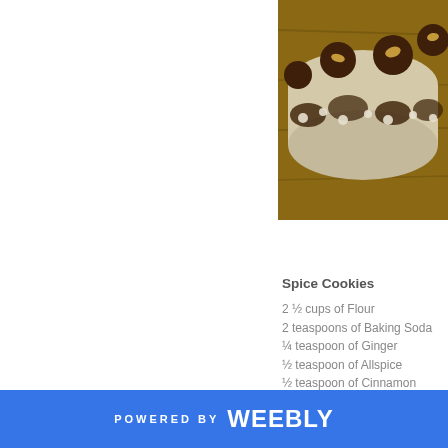[Figure (photo): Photo of chocolate spice cookies on a wooden surface with a white and chocolate marbled roll]
Spice Cookies
2 ½ cups of Flour
2 teaspoons of Baking Soda
¼ teaspoon of Ginger
½ teaspoon of Allspice
½ teaspoon of Cinnamon
½ teaspoon of Cloves
¾ cup of Butter
1 Sugar
1 Egg
¼ cup of Molasses
¼ cup of Powdered Sugar
Preheat the oven to 375 deg
POWERED BY weebly